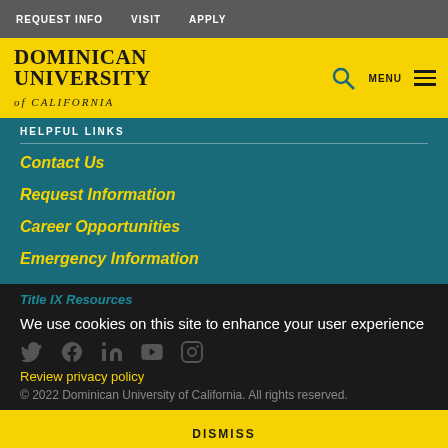REQUEST INFO   VISIT   APPLY
[Figure (logo): Dominican University of California logo with yellow background]
HELPFUL LINKS
Contact Us
Request Information
Career Opportunities
Emergency Information
Title IX Resources
We use cookies on this site to enhance your user experience
Review privacy policy
© 2022 Dominican University of California. All rights reserved.
DISMISS